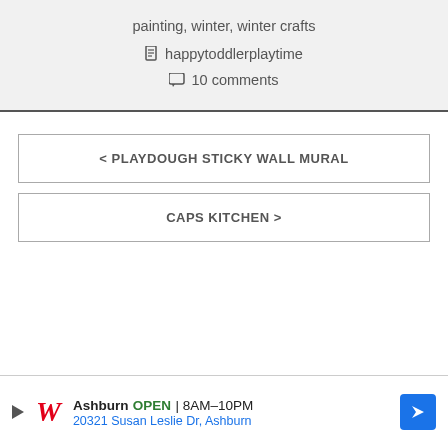painting, winter, winter crafts
happytoddlerplaytime
10 comments
< PLAYDOUGH STICKY WALL MURAL
CAPS KITCHEN >
[Figure (other): Walgreens ad banner: Ashburn OPEN 8AM-10PM, 20321 Susan Leslie Dr, Ashburn]